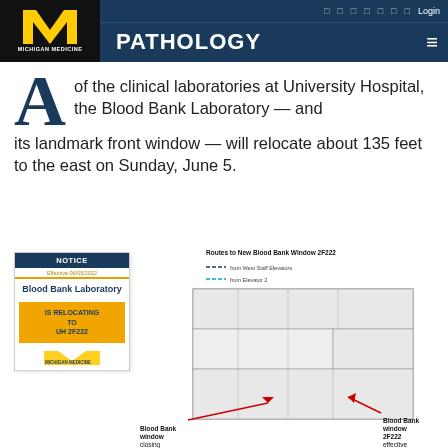MICHIGAN MEDICINE | PATHOLOGY
A of the clinical laboratories at University Hospital, the Blood Bank Laboratory — and its landmark front window — will relocate about 135 feet to the east on Sunday, June 5.
[Figure (infographic): Notice sign: Blood Bank Laboratory IS RELOCATING TO UH 2F222, Effective 06/05/2022]
[Figure (map): Floor map showing Routes to New Blood Bank Window 2F222, with legend showing dashed lines from West Staff Elevators and from Elevator 2. Labels for Blood Bank window closing and Blood Bank window 2F222 effective.]